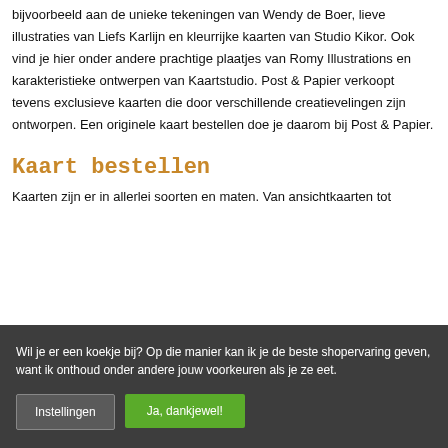bijvoorbeeld aan de unieke tekeningen van Wendy de Boer, lieve illustraties van Liefs Karlijn en kleurrijke kaarten van Studio Kikor. Ook vind je hier onder andere prachtige plaatjes van Romy Illustrations en karakteristieke ontwerpen van Kaartstudio. Post & Papier verkoopt tevens exclusieve kaarten die door verschillende creatievelingen zijn ontworpen. Een originele kaart bestellen doe je daarom bij Post & Papier.
Kaart bestellen
Kaarten zijn er in allerlei soorten en maten. Van ansichtkaarten tot
Wil je er een koekje bij? Op die manier kan ik je de beste shopervaring geven, want ik onthoud onder andere jouw voorkeuren als je ze eet.
Instellingen
Ja, dankjewel!